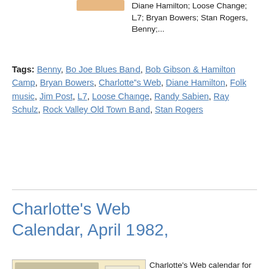[Figure (illustration): Small thumbnail image placeholder, orange/tan colored rectangle]
Diane Hamilton; Loose Change; L7; Bryan Bowers; Stan Rogers, Benny;...
Tags: Benny, Bo Joe Blues Band, Bob Gibson & Hamilton Camp, Bryan Bowers, Charlotte's Web, Diane Hamilton, Folk music, Jim Post, L7, Loose Change, Randy Sabien, Ray Schulz, Rock Valley Old Town Band, Stan Rogers
Charlotte's Web Calendar, April 1982,
[Figure (photo): Scanned postcard for Charlotte's Web music cafe, April 1982, featuring artwork by Chris Julin showing clown-like figures, with address label and postmark visible. Bottom text reads Charlotte's Web music cafe, 106 2nd Ave, Rockford, Illinois 61104, Ph: 815-965-8000]
Charlotte's Web calendar for April, 1982. Artwork by Chris Julin. Musicians scheduled to perform